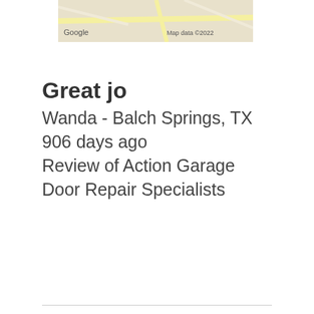[Figure (map): Partial Google Maps screenshot showing road map with yellow roads and 'Google' branding, Map data ©2022 attribution]
Great jo
Wanda - Balch Springs, TX
906 days ago
Review of Action Garage Door Repair Specialists